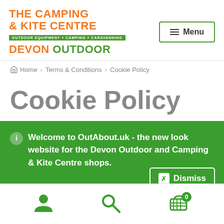[Figure (logo): The Camping & Kite Centre logo with orange text, green tagline badge, and Devon Outdoor text in green with orange DEVON word]
≡ Menu
🏠 Home › Terms & Conditions › Cookie Policy
Cookie Policy
ℹ Welcome to OutAbout.uk - the new look website for the Devon Outdoor and Camping & Kite Centre shops.
✕ Dismiss